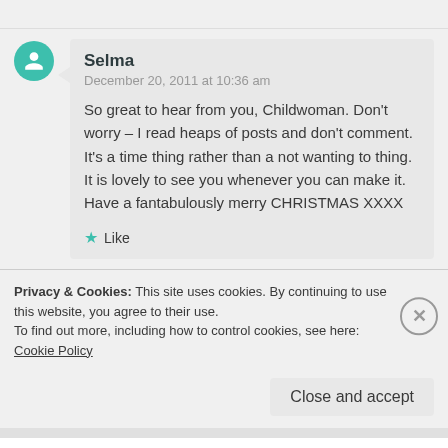Selma
December 20, 2011 at 10:36 am
So great to hear from you, Childwoman. Don't worry – I read heaps of posts and don't comment. It's a time thing rather than a not wanting to thing. It is lovely to see you whenever you can make it. Have a fantabulously merry CHRISTMAS XXXX
★ Like
Privacy & Cookies: This site uses cookies. By continuing to use this website, you agree to their use.
To find out more, including how to control cookies, see here: Cookie Policy
Close and accept